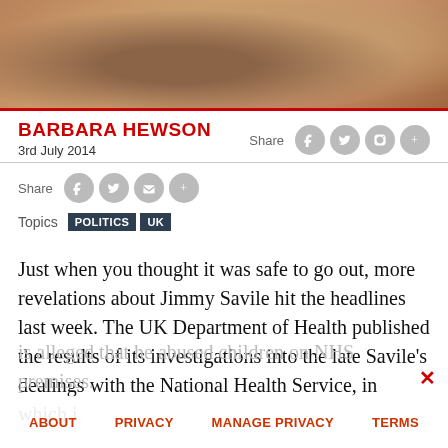[Figure (photo): Photo of a person holding a cigar, wearing a plaid shirt, partially visible at top of page]
BARBARA HEWSON
3rd July 2014
Share
Topics POLITICS UK
Just when you thought it was safe to go out, more revelations about Jimmy Savile hit the headlines last week. The UK Department of Health published the results of its investigations into the late Savile's dealings with the National Health Service, in which it is alleged that he abused children on NHS premises.
ABOUT   PRIVACY   MANAGE PRIVACY   TERMS